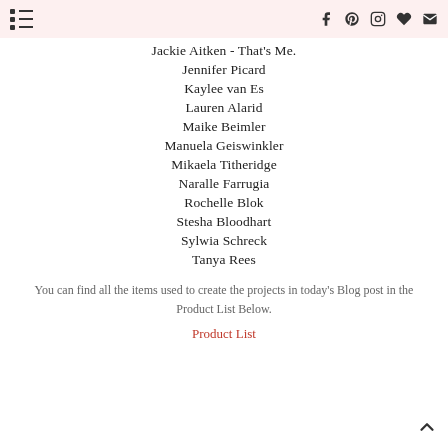Navigation and social icons header
Jackie Aitken - That's Me.
Jennifer Picard
Kaylee van Es
Lauren Alarid
Maike Beimler
Manuela Geiswinkler
Mikaela Titheridge
Naralle Farrugia
Rochelle Blok
Stesha Bloodhart
Sylwia Schreck
Tanya Rees
You can find all the items used to create the projects in today's Blog post in the Product List Below.
Product List